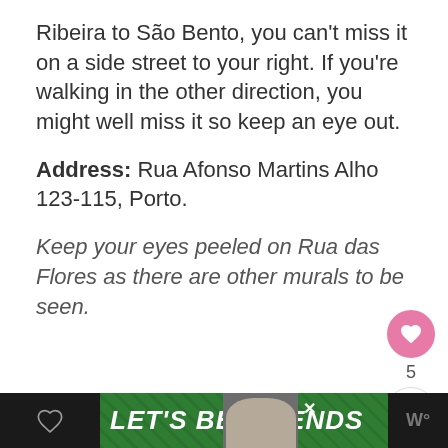Ribeira to São Bento, you can't miss it on a side street to your right. If you're walking in the other direction, you might well miss it so keep an eye out.
Address: Rua Afonso Martins Alho 123-115, Porto.
Keep your eyes peeled on Rua das Flores as there are other murals to be seen.
[Figure (screenshot): Advertisement banner at the bottom showing 'LET'S BE FRIENDS' text with a dog image on a dark green background with black border]